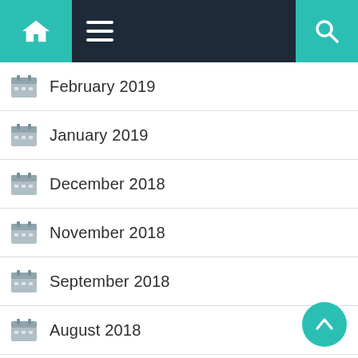Navigation bar with home, menu, and search icons
February 2019
January 2019
December 2018
November 2018
September 2018
August 2018
July 2018
June 2018
May 2018